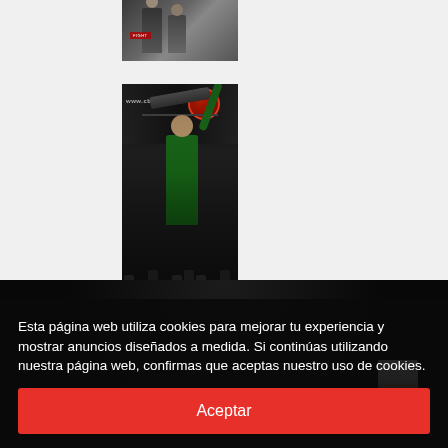[Figure (photo): Small thumbnail image of two fighters/athletes, appears to be a combat sports event]
[Figure (photo): Photo of a person in a green shirt raising their arm in victory at a combat sports or fitness event, with crowd and sponsor tent in background reading www.cbdg[...].at]
[Figure (photo): Partial image of a person wearing a black athletic shirt with white and red sleeve stripe, cropped at bottom of page]
Esta página web utiliza cookies para mejorar tu experiencia y mostrar anuncios diseñados a medida. Si continúas utilizando nuestra página web, confirmas que aceptas nuestro uso de cookies.
Aceptar